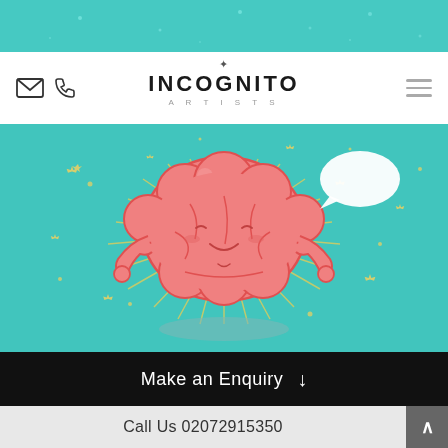[Figure (other): Teal decorative banner strip at top of page]
Incognito Artists – email icon, phone icon, hamburger menu
[Figure (illustration): Kawaii cartoon brain character meditating in lotus position with radiating yellow sunburst lines, small yellow stars, and a white speech bubble, floating above a grey oval shadow on a teal background]
Make an Enquiry ↓
Call Us 02072915350